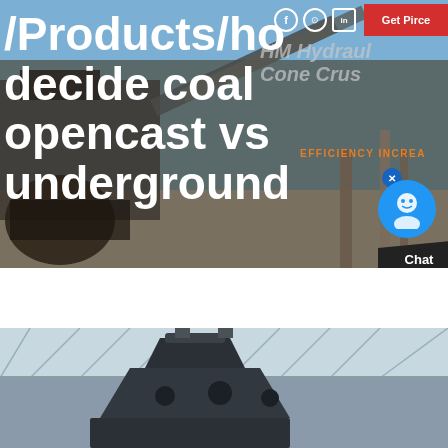[Figure (photo): Hero banner with industrial mining/crushing machinery background photo with large white bold title text overlay and UI elements (nav icons, Get Price button, chat widget)]
/Products/how decide coal opencast vs underground
[Figure (photo): Interior industrial warehouse/factory photo showing the top portion of a cone crusher machine, with structural ceiling visible in background]